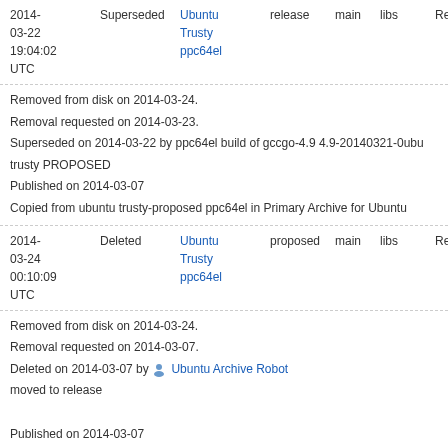| Date | Status | Target | Pocket | Component | Section | Priority |
| --- | --- | --- | --- | --- | --- | --- |
| 2014-03-22 19:04:02 UTC | Superseded | Ubuntu Trusty ppc64el | release | main | libs | Required |
| 2014-03-24 00:10:09 UTC | Deleted | Ubuntu Trusty ppc64el | proposed | main | libs | Required |
| 2014-03-07 | Superseded | Ubuntu Trusty | release | main | libs | Required |
Removed from disk on 2014-03-24.
Removal requested on 2014-03-23.
Superseded on 2014-03-22 by ppc64el build of gccgo-4.9 4.9-20140321-0ubuntu trusty PROPOSED
Published on 2014-03-07
Copied from ubuntu trusty-proposed ppc64el in Primary Archive for Ubuntu
Removed from disk on 2014-03-24.
Removal requested on 2014-03-07.
Deleted on 2014-03-07 by Ubuntu Archive Robot moved to release
Published on 2014-03-07